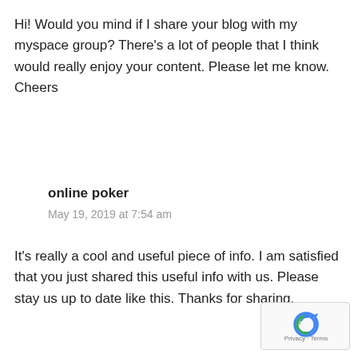Hi! Would you mind if I share your blog with my myspace group? There's a lot of people that I think would really enjoy your content. Please let me know. Cheers
online poker
May 19, 2019 at 7:54 am
It's really a cool and useful piece of info. I am satisfied that you just shared this useful info with us. Please stay us up to date like this. Thanks for sharing.
[Figure (logo): Google reCAPTCHA badge with recycle-style arrow logo and Privacy · Terms links]